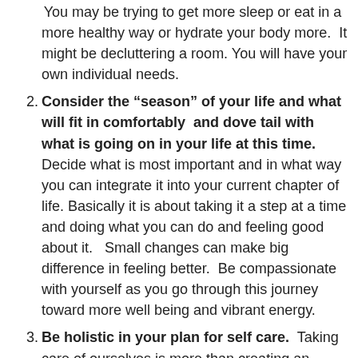You may be trying to get more sleep or eat in a more healthy way or hydrate your body more. It might be decluttering a room. You will have your own individual needs.
Consider the “season” of your life and what will fit in comfortably and dove tail with what is going on in your life at this time. Decide what is most important and in what way you can integrate it into your current chapter of life. Basically it is about taking it a step at a time and doing what you can do and feeling good about it. Small changes can make big difference in feeling better. Be compassionate with yourself as you go through this journey toward more well being and vibrant energy.
Be holistic in your plan for self care. Taking care of ourselves is more than creating an exercise plan. To